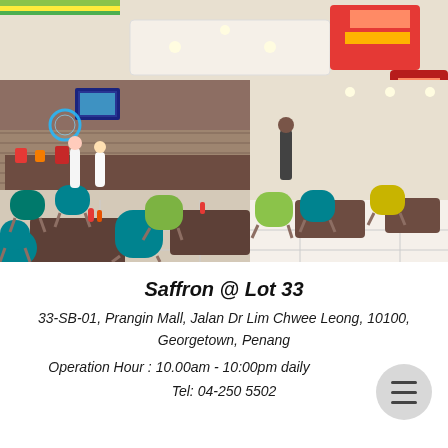[Figure (photo): Interior of Saffron @ Lot 33 restaurant in Prangin Mall, Penang. Shows a food court/restaurant area with teal and green upholstered chairs around wooden tables, a food counter/bar in the background with warm lighting, LED displays, decorative wooden panels, and promotional hanging banners on the upper right. White tiled floor. Customers and staff visible.]
Saffron @ Lot 33
33-SB-01, Prangin Mall, Jalan Dr Lim Chwee Leong, 10100, Georgetown, Penang
Operation Hour : 10.00am - 10:00pm daily
Tel: 04-250 5502